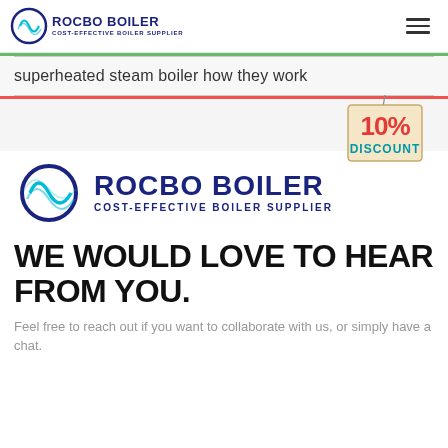ROCBO BOILER COST-EFFECTIVE BOILER SUPPLIER
superheated steam boiler how they work
[Figure (other): 10% DISCOUNT badge/tag graphic]
[Figure (logo): ROCBO BOILER COST-EFFECTIVE BOILER SUPPLIER large logo]
WE WOULD LOVE TO HEAR FROM YOU.
Feel free to reach out if you want to collaborate with us, or simply have a chat.